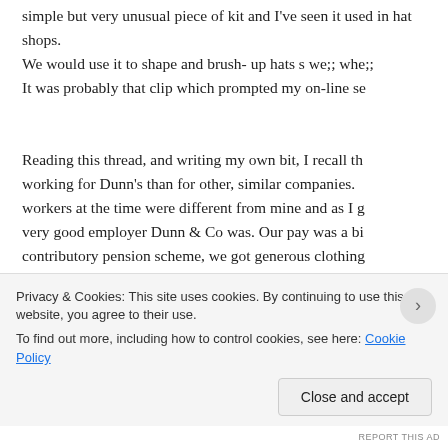simple but very unusual piece of kit and I've seen it used in hat shops. We would use it to shape and brush- up hats s we;; whe;; It was probably that clip which prompted my on-line se
Reading this thread, and writing my own bit, I recall th working for Dunn's than for other, similar companies. T workers at the time were different from mine and as I g very good employer Dunn & Co was. Our pay was a bi contributory pension scheme, we got generous clothing hat allowance?) and generous bonuses at Christmas an there was quite a sense of community about the compa Office (my part became BT) and I stayed there for 35 y took a small pay cut when I joined the PO (soon rectifi personal identification number and did feel as if I was a
Privacy & Cookies: This site uses cookies. By continuing to use this website, you agree to their use.
To find out more, including how to control cookies, see here: Cookie Policy